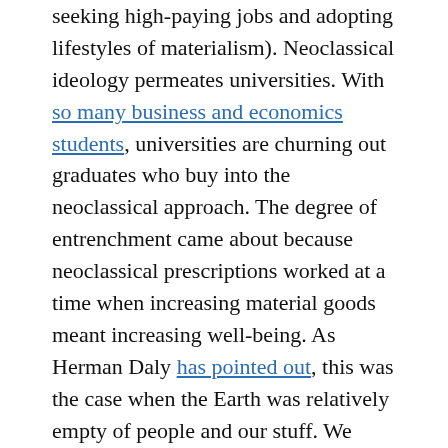seeking high-paying jobs and adopting lifestyles of materialism). Neoclassical ideology permeates universities. With so many business and economics students, universities are churning out graduates who buy into the neoclassical approach. The degree of entrenchment came about because neoclassical prescriptions worked at a time when increasing material goods meant increasing well-being. As Herman Daly has pointed out, this was the case when the Earth was relatively empty of people and our stuff. We could extract resources and dump wastes without worrying about running out of supplies (of either inputs or waste absorption capacity). But that logic has become faulty, and even dangerous, as we have filled the planet with ourselves and our things.
3. They spin a real good story over at Fantasy Camp. The message of unending growth is enticing, as long as